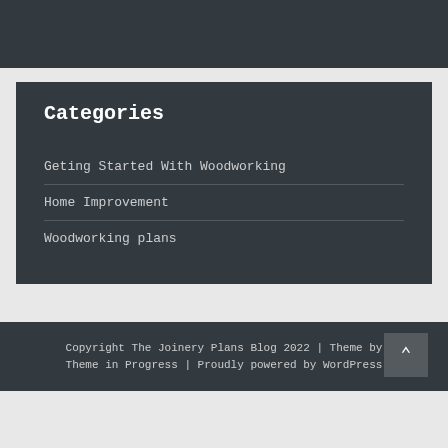Categories
Geting Started With Woodworking
Home Improvement
Woodworking plans
Copyright The Joinery Plans Blog 2022 | Theme by Theme in Progress | Proudly powered by WordPress